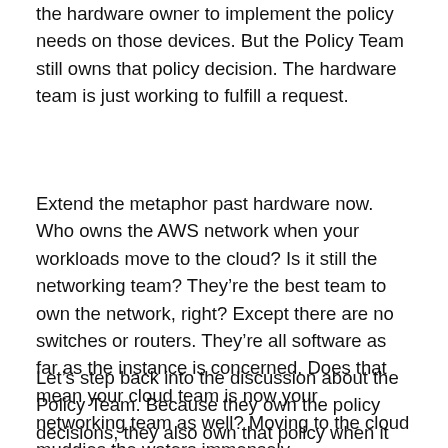the hardware owner to implement the policy needs on those devices. But the Policy Team still owns that policy decision. The hardware team is just working to fulfill a request.
Extend the metaphor past hardware now. Who owns the AWS network when your workloads move to the cloud? Is it still the networking team? They're the best team to own the network, right? Except there are no switches or routers. They're all software as far as the instance is concerned. Does that mean your cloud team is now your networking team as well? Moving to the cloud muddies the waters immensely.
Let's step back into the discussion about the Policy Team. Because they own the policy decisions, they also own that policy when it changes hardware or location. If those workloads for email or productivity suite move from on